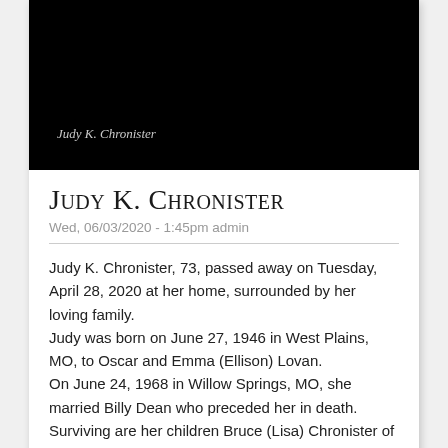[Figure (photo): Dark/black photo placeholder with italic caption 'Judy K. Chronister' in light gray text at bottom left]
Judy K. Chronister
Wed, 06/03/2020 - 1:45pm admin
Judy K. Chronister, 73, passed away on Tuesday, April 28, 2020 at her home, surrounded by her loving family.
Judy was born on June 27, 1946 in West Plains, MO, to Oscar and Emma (Ellison) Lovan.
On June 24, 1968 in Willow Springs, MO, she married Billy Dean who preceded her in death.  Surviving are her children Bruce (Lisa) Chronister of La Porte, Mikel (Gena) Chronister of Hammond, and